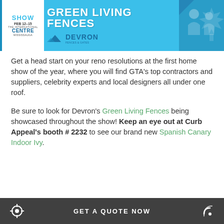[Figure (illustration): Top banner ad for the GTA Home & Reno Show featuring Green Living Fences by Devron, with show dates Feb 12-15 at The International Centre, Mississauga]
Get a head start on your reno resolutions at the first home show of the year, where you will find GTA's top contractors and suppliers, celebrity experts and local designers all under one roof.
Be sure to look for Devron's Green Living Fences being showcased throughout the show! Keep an eye out at Curb Appeal's booth # 2232 to see our brand new Spanish Canary Indoor Ivy.
[Figure (illustration): Bottom banner ad for the GTA Home & Reno Show, Feb 12-15, The International Centre, Mississauga, with hexagonal photo collage]
GET A QUOTE NOW